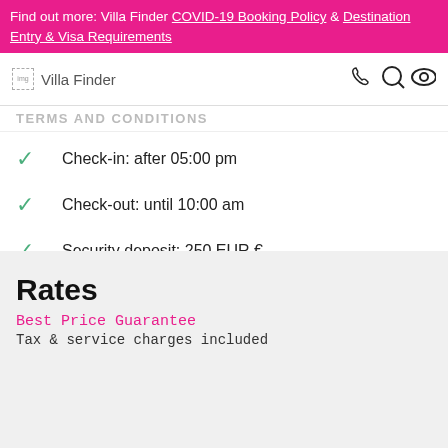Find out more: Villa Finder COVID-19 Booking Policy & Destination Entry & Visa Requirements
Villa Finder
TERMS AND CONDITIONS
Check-in: after 05:00 pm
Check-out: until 10:00 am
Security deposit: 250 EUR €
Tourist tax (extra cost) (2.20 EUR per person per night)
Rates
Best Price Guarantee
Tax & service charges included